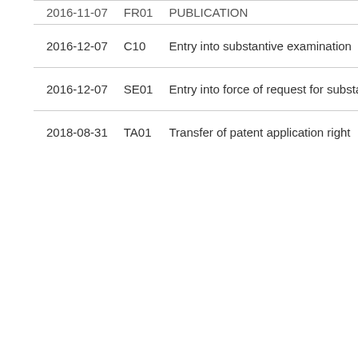| 2016-11-07 | FR01 | PUBLICATION |
| 2016-12-07 | C10 | Entry into substantive examination |
| 2016-12-07 | SE01 | Entry into force of request for substantive exa |
| 2018-08-31 | TA01 | Transfer of patent application right |